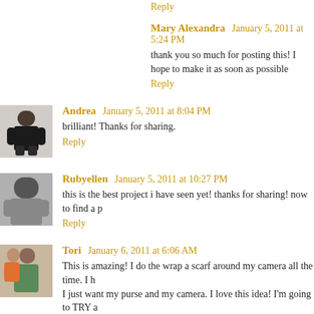Reply
Mary Alexandra   January 5, 2011 at 5:24 PM
thank you so much for posting this! I hope to make it as soon as possible
Reply
[Figure (photo): Avatar photo of Andrea, woman in black top]
Andrea   January 5, 2011 at 8:04 PM
brilliant! Thanks for sharing.
Reply
[Figure (photo): Avatar photo of Rubyellen, woman in black and white photo]
Rubyellen   January 5, 2011 at 10:27 PM
this is the best project i have seen yet! thanks for sharing! now to find a p
Reply
[Figure (photo): Avatar photo of Tori, woman with child]
Tori   January 6, 2011 at 6:06 AM
This is amazing! I do the wrap a scarf around my camera all the time. I h I just want my purse and my camera. I love this idea! I'm going to TRY a try Velcro and glue.